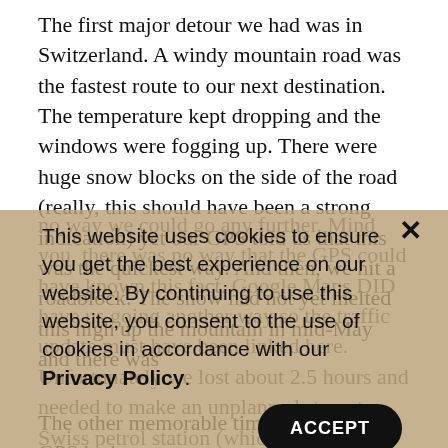The first major detour we had was in Switzerland. A windy mountain road was the fastest route to our next destination. The temperature kept dropping and the windows were fogging up. There were huge snow blocks on the side of the road (really, this should have been a strong indication) yet our GPS told us that this was the quickest way. And then, we hit a roadblock. The snow had not yet melted this high up the mountain in mid-May and there was no way we could go any further. Mind you, there was no way that the GPS could have known this fact. Google Maps DID have us going another way so the traffic update must have been linked here. Unfortunately we lost about 2.5 hours and needed to make an unplanned stop at a Swiss petrol station (which just goes to show the situation is out of your hands and you just have to adapt.
This website uses cookies to ensure you get the best experience on our website. By continuing to use this website, you consent to the use of cookies in accordance with our Privacy Policy.
The other memorable time was when the GPS had